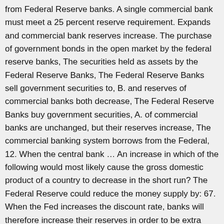from Federal Reserve banks. A single commercial bank must meet a 25 percent reserve requirement. Expands and commercial bank reserves increase. The purchase of government bonds in the open market by the federal reserve banks, The securities held as assets by the Federal Reserve Banks, The Federal Reserve Banks sell government securities to, B. and reserves of commercial banks both decrease, The Federal Reserve Banks buy government securities, A. of commercial banks are unchanged, but their reserves increase, The commercial banking system borrows from the Federal, 12. When the central bank ... An increase in which of the following would most likely cause the gross domestic product of a country to decrease in the short run? The Federal Reserve could reduce the money supply by: 67. When the Fed increases the discount rate, banks will therefore increase their reserves in order to be extra careful not to fall below the reserve requirement which if they do may result in ... A) an asset. B. b. increasing the federal funds rate target. You have $1,000 available to spend if you choose. Scheduled maintenance: